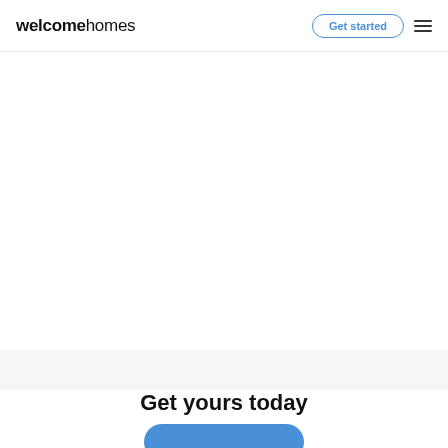welcomehomes | Get started
[Figure (illustration): Large empty white content area, likely a hero image placeholder or loaded image area below the navigation header]
Get yours today
[Figure (other): Blue rounded call-to-action button at bottom of page]